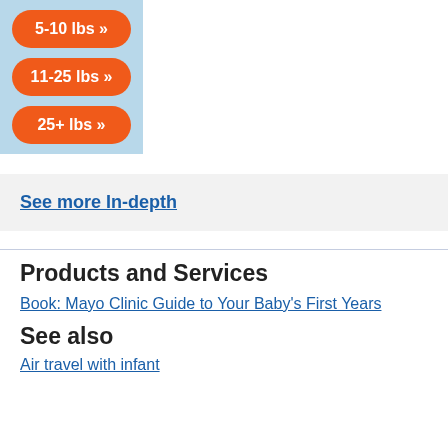[Figure (infographic): Light blue box with three orange pill-shaped buttons: '5-10 lbs »', '11-25 lbs »', '25+ lbs »']
See more In-depth
Products and Services
Book: Mayo Clinic Guide to Your Baby's First Years
See also
Air travel with infant